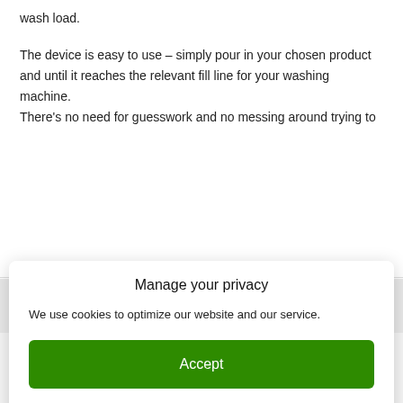wash load.
The device is easy to use – simply pour in your chosen product and until it reaches the relevant fill line for your washing machine. There's no need for guesswork and no messing around trying to
Manage your privacy
We use cookies to optimize our website and our service.
Accept
Do Not Sell My Personal Information   Privacy Statement
How to get a free rsil Laundry Dosing Device?